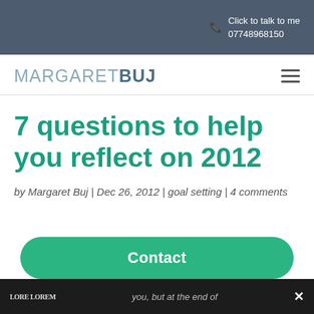Click to talk to me 07748968150
MARGARET BUJ
7 questions to help you reflect on 2012
by Margaret Buj | Dec 26, 2012 | goal setting | 4 comments
Contact
you, but at the end of